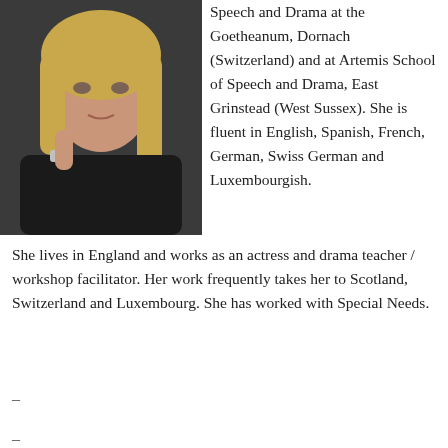[Figure (photo): Portrait photo of a young blonde woman wearing a dark top, looking at camera with a serious expression, with a watch on her wrist]
Speech and Drama at the Goetheanum, Dornach (Switzerland) and at Artemis School of Speech and Drama, East Grinstead (West Sussex). She is fluent in English, Spanish, French, German, Swiss German and Luxembourgish. She lives in England and works as an actress and drama teacher / workshop facilitator. Her work frequently takes her to Scotland, Switzerland and Luxembourg. She has worked with Special Needs.
–
–